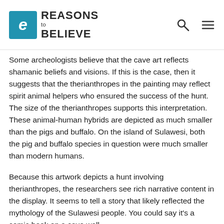Reasons to Believe
Some archeologists believe that the cave art reflects shamanic beliefs and visions. If this is the case, then it suggests that the therianthropes in the painting may reflect spirit animal helpers who ensured the success of the hunt. The size of the therianthropes supports this interpretation. These animal-human hybrids are depicted as much smaller than the pigs and buffalo. On the island of Sulawesi, both the pig and buffalo species in question were much smaller than modern humans.
Because this artwork depicts a hunt involving therianthropes, the researchers see rich narrative content in the display. It seems to tell a story that likely reflected the mythology of the Sulawesi people. You could say it’s a comic book on a cave wall.
Relationship between Cave Art in Europe and Asia